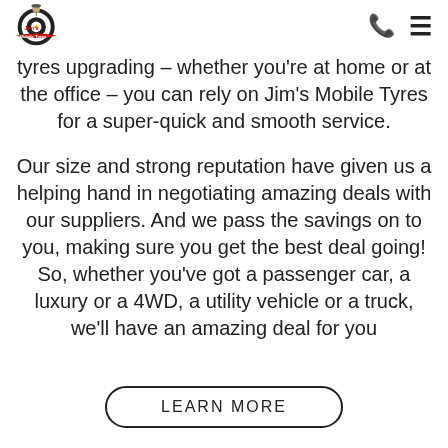Jim's Mobile Tyres
tyres upgrading – whether you're at home or at the office – you can rely on Jim's Mobile Tyres for a super-quick and smooth service.
Our size and strong reputation have given us a helping hand in negotiating amazing deals with our suppliers. And we pass the savings on to you, making sure you get the best deal going! So, whether you've got a passenger car, a luxury or a 4WD, a utility vehicle or a truck, we'll have an amazing deal for you
LEARN MORE